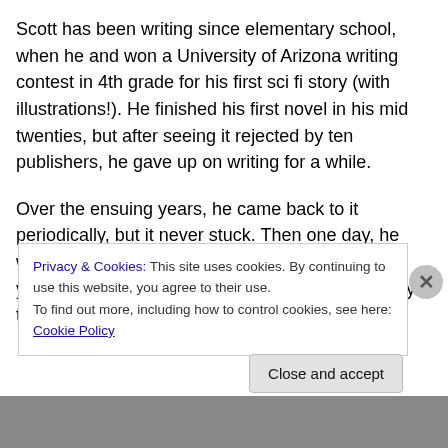Scott has been writing since elementary school, when he and won a University of Arizona writing contest in 4th grade for his first sci fi story (with illustrations!). He finished his first novel in his mid twenties, but after seeing it rejected by ten publishers, he gave up on writing for a while.
Over the ensuing years, he came back to it periodically, but it never stuck. Then one day, he was complaining to Mark, his husband, early last year about how he had been derailed yet again by the death of a family member, and
Privacy & Cookies: This site uses cookies. By continuing to use this website, you agree to their use.
To find out more, including how to control cookies, see here: Cookie Policy
Close and accept